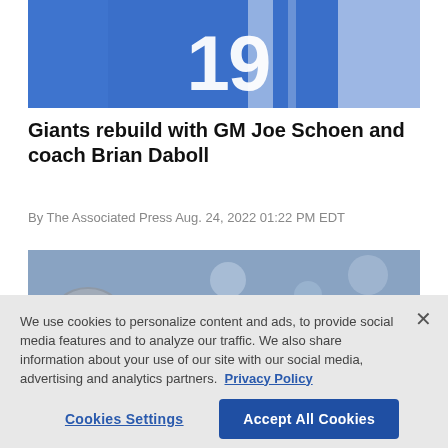[Figure (photo): Football player wearing blue jersey with number 19]
Giants rebuild with GM Joe Schoen and coach Brian Daboll
By The Associated Press Aug. 24, 2022 01:22 PM EDT
[Figure (photo): Football player in helmet, blurred crowd background]
We use cookies to personalize content and ads, to provide social media features and to analyze our traffic. We also share information about your use of our site with our social media, advertising and analytics partners. Privacy Policy
Cookies Settings | Accept All Cookies